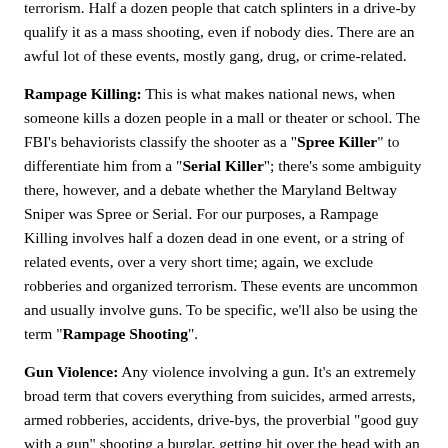4 or more victims shot in a single event, they exclude robberies and terrorism. Half a dozen people that catch splinters in a drive-by qualify it as a mass shooting, even if nobody dies. There are an awful lot of these events, mostly gang, drug, or crime-related.
Rampage Killing: This is what makes national news, when someone kills a dozen people in a mall or theater or school. The FBI's behaviorists classify the shooter as a "Spree Killer" to differentiate him from a "Serial Killer"; there's some ambiguity there, however, and a debate whether the Maryland Beltway Sniper was Spree or Serial. For our purposes, a Rampage Killing involves half a dozen dead in one event, or a string of related events, over a very short time; again, we exclude robberies and organized terrorism. These events are uncommon and usually involve guns. To be specific, we'll also be using the term "Rampage Shooting".
Gun Violence: Any violence involving a gun. It's an extremely broad term that covers everything from suicides, armed arrests, armed robberies, accidents, drive-bys, the proverbial "good guy with a gun" shooting a burglar, getting hit over the head with an unsecured